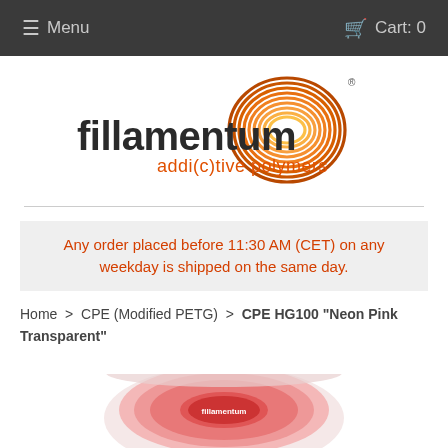≡ Menu   🛒 Cart: 0
[Figure (logo): Fillamentum logo — stylized word 'fillamentum' in dark grey with orange spiral spool graphic and subtitle 'addi(c)tive polymers' in orange]
Any order placed before 11:30 AM (CET) on any weekday is shipped on the same day.
Home > CPE (Modified PETG) > CPE HG100 "Neon Pink Transparent"
[Figure (photo): Partially visible pink filament spool (CPE HG100 Neon Pink Transparent) cropped at bottom of page]